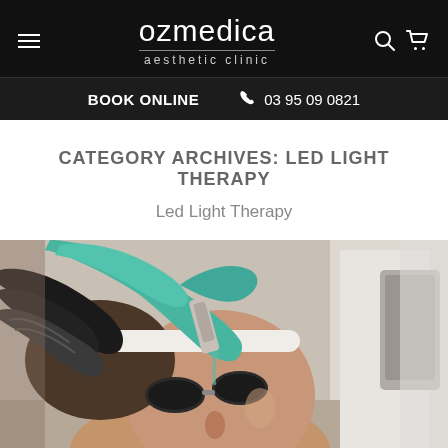ozmedica aesthetic clinic | BOOK ONLINE | 03 95 09 0821
CATEGORY ARCHIVES: LED LIGHT THERAPY
Led Light Therapy
[Figure (photo): A patient receiving a facial LED light therapy treatment at a clinic. The patient is lying down wearing protective eye shields/goggles, with a white headband. A practitioner wearing teal/green gloves and dark gloves is applying a treatment device or serum to the patient's forehead area. The background shows a clinical white room with professional equipment visible on the right side.]